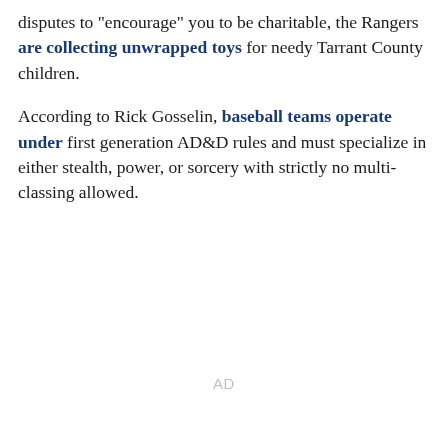disputes to "encourage" you to be charitable, the Rangers are collecting unwrapped toys for needy Tarrant County children.
According to Rick Gosselin, baseball teams operate under first generation AD&D rules and must specialize in either stealth, power, or sorcery with strictly no multi-classing allowed.
AD